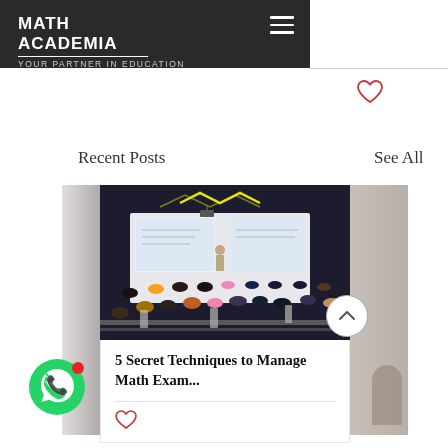MATH ACADEMIA
YOUR PARTNER IN EDUCATION
Recent Posts
See All
[Figure (photo): Classroom scene with students sitting at desks, a teacher standing at the front, and a projection screen showing content. The room has dark ceiling with geometric light fixtures.]
5 Secret Techniques to Manage Math Exam...
[Figure (illustration): Red heart (like) icon below the blog post title]
[Figure (illustration): Green WhatsApp chat button in bottom left corner with red notification dot]
[Figure (illustration): Scroll-up arrow button (chevron up) in circle]